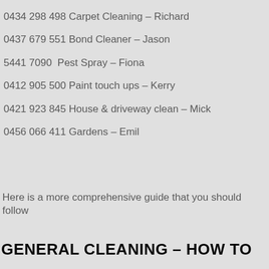0434 298 498 Carpet Cleaning – Richard
0437 679 551 Bond Cleaner – Jason
5441 7090  Pest Spray – Fiona
0412 905 500 Paint touch ups – Kerry
0421 923 845 House & driveway clean – Mick
0456 066 411 Gardens – Emil
Here is a more comprehensive guide that you should follow
GENERAL CLEANING – HOW TO